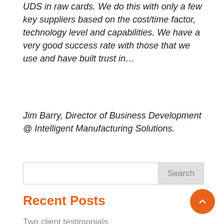UDS in raw cards. We do this with only a few key suppliers based on the cost/time factor, technology level and capabilities. We have a very good success rate with those that we use and have built trust in…
Jim Barry, Director of Business Development @ Intelligent Manufacturing Solutions.
Search
Recent Posts
Two client testimonials
Electronics manufacturing returning – further developments